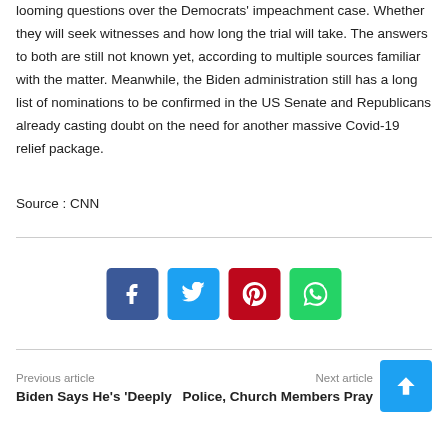looming questions over the Democrats' impeachment case. Whether they will seek witnesses and how long the trial will take. The answers to both are still not known yet, according to multiple sources familiar with the matter. Meanwhile, the Biden administration still has a long list of nominations to be confirmed in the US Senate and Republicans already casting doubt on the need for another massive Covid-19 relief package.
Source : CNN
[Figure (other): Social media share buttons: Facebook (blue), Twitter (light blue), Pinterest (red), WhatsApp (green)]
Previous article | Next article
Biden Says He's 'Deeply...
Police, Church Members Pray...